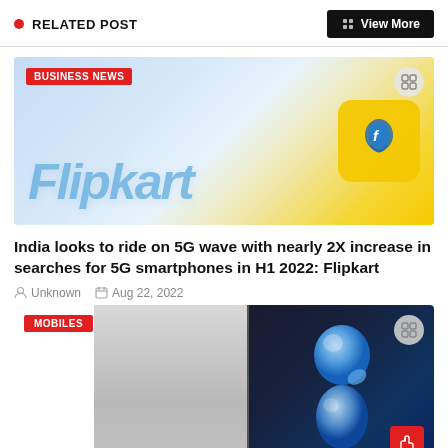RELATED POST | View More
[Figure (photo): Flipkart brand image with Flipkart logo text and yellow Flipkart app icon, with BUSINESS NEWS label badge]
India looks to ride on 5G wave with nearly 2X increase in searches for 5G smartphones in H1 2022: Flipkart
Unknown | Aug 22, 2022
[Figure (photo): Image of a smartphone next to a glowing blue 3D bubble/character figure on dark background, with MOBILES label badge]